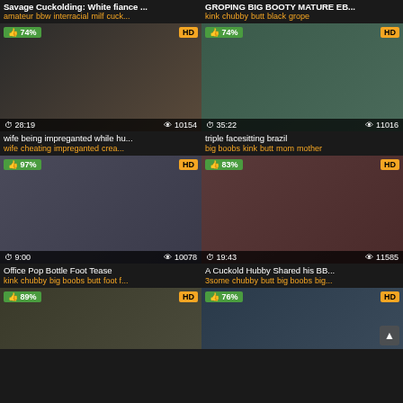Savage Cuckolding: White fiance ...
amateur bbw interracial milf cuck...
GROPING BIG BOOTY MATURE EB...
kink chubby butt black grope
[Figure (photo): Video thumbnail 74% HD, 28:19, 10154 views]
wife being impreganted while hu...
wife cheating impreganted crea...
[Figure (photo): Video thumbnail 74% HD, 35:22, 11016 views]
triple facesitting brazil
big boobs kink butt mom mother
[Figure (photo): Video thumbnail 97% HD, 9:00, 10078 views]
Office Pop Bottle Foot Tease
kink chubby big boobs butt foot f...
[Figure (photo): Video thumbnail 83% HD, 19:43, 11585 views]
A Cuckold Hubby Shared his BB...
3some chubby butt big boobs big...
[Figure (photo): Video thumbnail 89% HD, partial view]
[Figure (photo): Video thumbnail 76% HD, partial view]